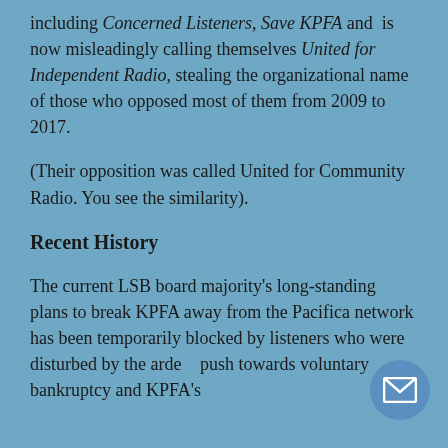including Concerned Listeners, Save KPFA and is now misleadingly calling themselves United for Independent Radio, stealing the organizational name of those who opposed most of them from 2009 to 2017.
(Their opposition was called United for Community Radio. You see the similarity).
Recent History
The current LSB board majority's long-standing plans to break KPFA away from the Pacifica network has been temporarily blocked by listeners who were disturbed by the arde push towards voluntary bankruptcy and KPFA's